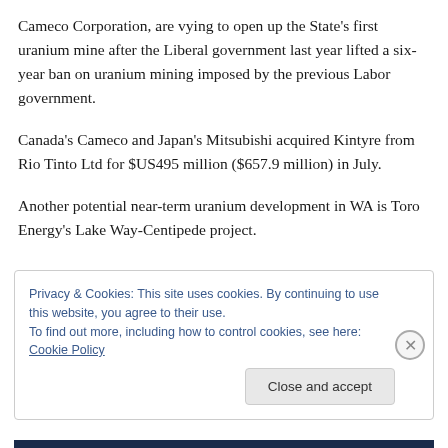Cameco Corporation, are vying to open up the State's first uranium mine after the Liberal government last year lifted a six-year ban on uranium mining imposed by the previous Labor government.
Canada's Cameco and Japan's Mitsubishi acquired Kintyre from Rio Tinto Ltd for $US495 million ($657.9 million) in July.
Another potential near-term uranium development in WA is Toro Energy's Lake Way-Centipede project.
Privacy & Cookies: This site uses cookies. By continuing to use this website, you agree to their use.
To find out more, including how to control cookies, see here: Cookie Policy